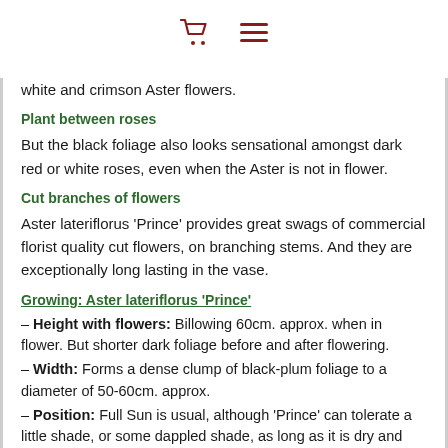[cart icon] [menu icon]
white and crimson Aster flowers.
Plant between roses
But the black foliage also looks sensational amongst dark red or white roses, even when the Aster is not in flower.
Cut branches of flowers
Aster lateriflorus 'Prince' provides great swags of commercial florist quality cut flowers, on branching stems. And they are exceptionally long lasting in the vase.
Growing: Aster lateriflorus 'Prince'
– Height with flowers: Billowing 60cm. approx. when in flower. But shorter dark foliage before and after flowering.
– Width: Forms a dense clump of black-plum foliage to a diameter of 50-60cm. approx.
– Position: Full Sun is usual, although 'Prince' can tolerate a little shade, or some dappled shade, as long as it is dry and airy. But he does not appreciate dank humidity. However he will also tolerate shade for part of the day in hotter districts. As long as he is getting plenty of light and air.